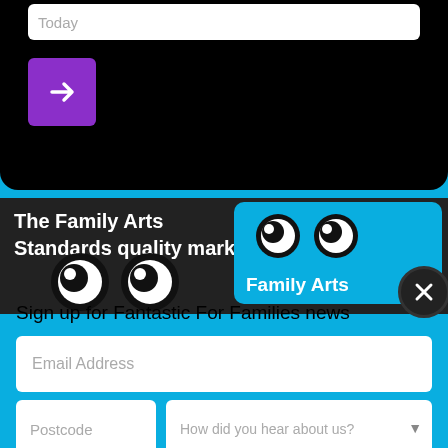Today
[Figure (screenshot): Purple arrow button (right arrow) on black background]
[Figure (illustration): Family Arts Standards quality mark banner with cartoon eyes logo on dark background and blue card showing 'Family Arts' text, with close (X) button]
Sign up for Fantastic For Families news
Email Address
Postcode
How did you hear about us?
Submit